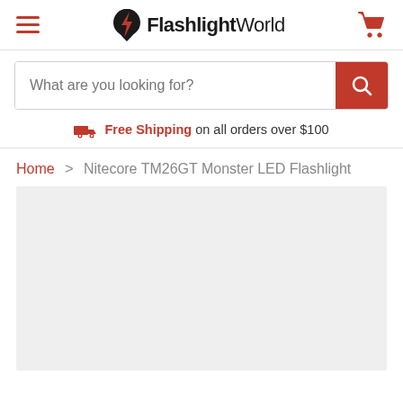FlashlightWorld
What are you looking for?
Free Shipping on all orders over $100
Home > Nitecore TM26GT Monster LED Flashlight
[Figure (other): Light grey product image placeholder area]